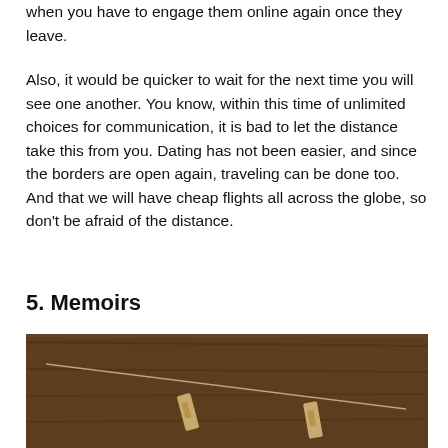when you have to engage them online again once they leave.
Also, it would be quicker to wait for the next time you will see one another. You know, within this time of unlimited choices for communication, it is bad to let the distance take this from you. Dating has not been easier, and since the borders are open again, traveling can be done too. And that we will have cheap flights all across the globe, so don't be afraid of the distance.
5. Memoirs
[Figure (photo): A wooden surface with a string and small wooden clothespin-like objects arranged on it.]